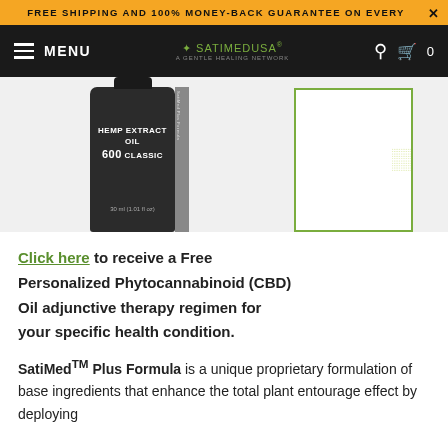FREE SHIPPING AND 100% MONEY-BACK GUARANTEE ON EVERY×
[Figure (screenshot): Website navigation bar with hamburger menu, MENU text, SatiMedUSA logo, search icon, and cart icon with 0 count on dark background]
[Figure (photo): Hemp Extract Oil 600 Classic product bottle (30ml/1.01 fl oz) dark container and white box with green dot pattern side by side]
Click here to receive a Free Personalized Phytocannabinoid (CBD) Oil adjunctive therapy regimen for your specific health condition.
SatiMed™ Plus Formula is a unique proprietary formulation of base ingredients that enhance the total plant entourage effect by deploying